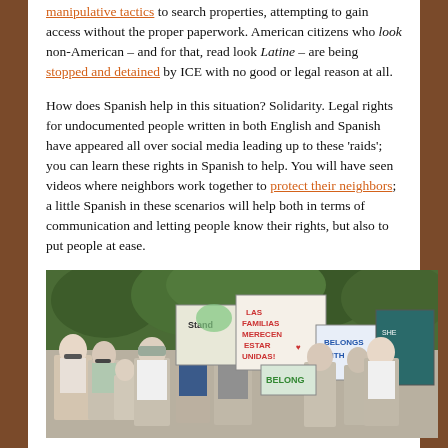manipulative tactics to search properties, attempting to gain access without the proper paperwork. American citizens who look non-American – and for that, read look Latine – are being stopped and detained by ICE with no good or legal reason at all.
How does Spanish help in this situation? Solidarity. Legal rights for undocumented people written in both English and Spanish have appeared all over social media leading up to these 'raids'; you can learn these rights in Spanish to help. You will have seen videos where neighbors work together to protect their neighbors; a little Spanish in these scenarios will help both in terms of communication and letting people know their rights, but also to put people at ease.
[Figure (photo): A crowd of people marching with protest signs. Signs visible include 'LAS FAMILIAS MERECEN ESTAR UNIDAS', 'Stand', 'BELONG', 'BELONGS WITH'. People are walking outdoors with trees in the background.]